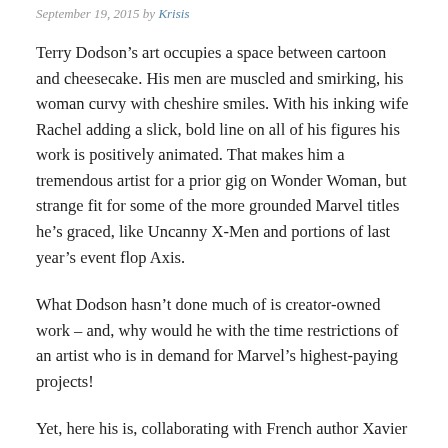September 19, 2015 by Krisis
Terry Dodson’s art occupies a space between cartoon and cheesecake. His men are muscled and smirking, his woman curvy with cheshire smiles. With his inking wife Rachel adding a slick, bold line on all of his figures his work is positively animated. That makes him a tremendous artist for a prior gig on Wonder Woman, but strange fit for some of the more grounded Marvel titles he’s graced, like Uncanny X-Men and portions of last year’s event flop Axis.
What Dodson hasn’t done much of is creator-owned work – and, why would he with the time restrictions of an artist who is in demand for Marvel’s highest-paying projects!
Yet, here his is, collaborating with French author Xavier Dorison. Together they’re penning a Communist superhero invading America in the late 70s to preserve